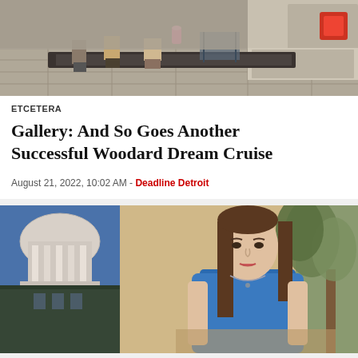[Figure (photo): People loading or unloading items from the back of an SUV or truck on a stone pavement. Visible are legs, shoes, a pink cup, and the vehicle's red taillights.]
ETCETERA
Gallery: And So Goes Another Successful Woodard Dream Cruise
August 21, 2022, 10:02 AM - Deadline Detroit
[Figure (photo): A woman with brown hair wearing a blue sleeveless top, seated with a plant and a classical domed building (possibly a capitol or concert hall) visible in the background split composition.]